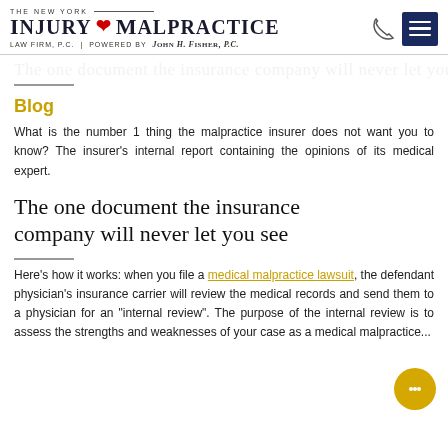THE NEW YORK INJURY & MALPRACTICE LAW FIRM, P.C. | POWERED BY JOHN H. FISHER, P.C.
The one document the insurance company will never let you see
Blog
What is the number 1 thing the malpractice insurer does not want you to know? The insurer's internal report containing the opinions of its medical expert.
Here's how it works: when you file a medical malpractice lawsuit, the defendant physician's insurance carrier will review the medical records and send them to a physician for an "internal review". The purpose of the internal review is to assess the strengths and weaknesses of your case as a medical malpractice...